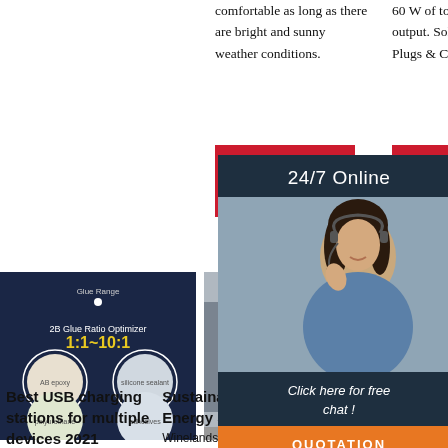comfortable as long as there are bright and sunny weather conditions.
60 W of total maximum output. Solar Panel Plugs & Cables
[Figure (infographic): Red 'Get Price' button (left column)]
[Figure (infographic): Red 'Get' button partially visible (right column)]
[Figure (infographic): 24/7 Online chat widget with woman wearing headset, dark navy background, 'Click here for free chat!' text, and orange QUOTATION button]
[Figure (photo): Dark blue infographic showing 2B Glue Ratio Optimizer 1:1~10:1 with circular icons]
[Figure (photo): Industrial machinery/equipment at a trade show or facility]
[Figure (photo): Industrial facility interior, partially cropped]
Best USB charging stations for multiple devices 2021
Sustainable Solar Energy Solutions
Winelands Solar clients enjoy an
The 7 Best Solar Chargers - Reviews & Guide]